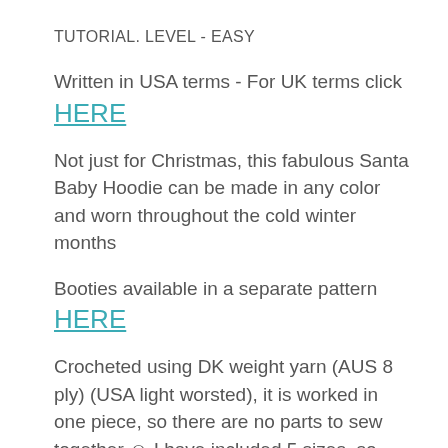TUTORIAL. LEVEL - EASY
Written in USA terms - For UK terms click HERE
Not just for Christmas, this fabulous Santa Baby Hoodie can be made in any color and worn throughout the cold winter months
Booties available in a separate pattern HERE
Crocheted using DK weight yarn (AUS 8 ply) (USA light worsted), it is worked in one piece, so there are no parts to sew together ☺ I have included 5 sizes, so you can make this time and time again as your little one